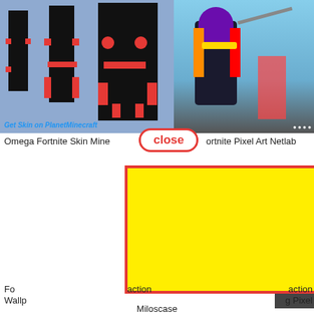[Figure (screenshot): Minecraft Omega Fortnite skin pixel art showing blocky character skins in black with red accents on blue-gray background, labeled 'Get Skin on PlanetMinecraft']
[Figure (screenshot): Fortnite game screenshot showing colorful character with purple/black/yellow armor against sky background]
[Figure (other): Close button overlay - red-bordered rounded rectangle with red text 'close' on white background]
Omega Fortnite Skin Mine[craft] [F]ortnite Pixel Art Netlab
[Figure (other): Large yellow rectangle with thick red border overlaying the bottom portion of the page]
[Figure (other): Pixel art grid on right side showing blue and gray numbered grid squares]
Fo[rtnite] [Fortnite] [Fortnite Inter]action Wallp[aper] [Fortnite] [Fortnite Minecrft] g Pixel
Miloscase